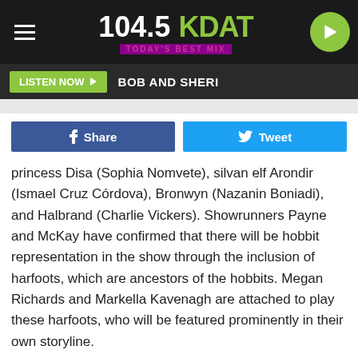[Figure (logo): 104.5 KDAT Today's Best Mix radio station logo with hamburger menu and play button]
LISTEN NOW  BOB AND SHERI
f Share   Tweet
princess Disa (Sophia Nomvete), silvan elf Arondir (Ismael Cruz Córdova), Bronwyn (Nazanin Boniadi), and Halbrand (Charlie Vickers). Showrunners Payne and McKay have confirmed that there will be hobbit representation in the show through the inclusion of harfoots, which are ancestors of the hobbits. Megan Richards and Markella Kavenagh are attached to play these harfoots, who will be featured prominently in their own storyline.
ADVERTISEMENT